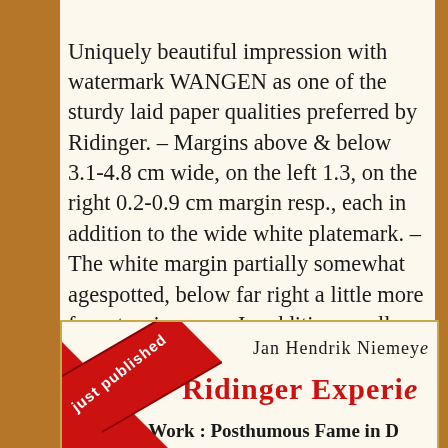Uniquely beautiful impression with watermark WANGEN as one of the sturdy laid paper qualities preferred by Ridinger. – Margins above & below 3.1-4.8 cm wide, on the left 1.3, on the right 0.2-0.9 cm margin resp., each in addition to the wide white platemark. – The white margin partially somewhat agespotted, below far right a little more from turning over. In addition small tear at the fold of the wide white lower margin backed acid-freely.
Offer no. 15,796  |  price on application
[Figure (illustration): Advertisement panel with red diagonal ribbon reading 'just published', author name 'Jan Hendrik Niemeye[r]', bold red title 'Ridinger Experie[nce]', subtitle 'Life : Work : Posthumous Fame in D[...]']